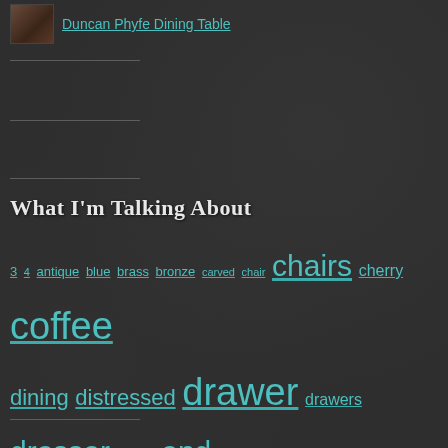[Figure (photo): Small thumbnail image of a dining table]
Duncan Phyfe Dining Table
What I'm Talking About
3 4 antique blue brass bronze carved chair chairs cherry coffee dining distressed drawer drawers dresser Duncan end entry fabric glaze gray knobs leaf legs mahogany maple nightstand oak paint painted pedestal pine pulls rubbed set solid stain stained table upholstered Vintage walnut white wood